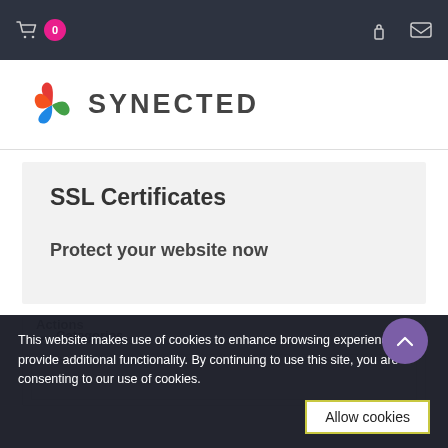0 (cart) | lock icon | mail icon
[Figure (logo): Synected logo with colorful swirl icon and text SYNECTED]
SSL Certificates
Protect your website now
Categories
Actions
This website makes use of cookies to enhance browsing experience and provide additional functionality. By continuing to use this site, you are consenting to our use of cookies.
Allow cookies